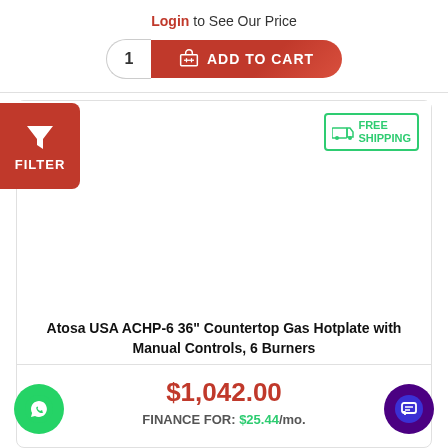Login to See Our Price
[Figure (screenshot): Add to Cart button with quantity box showing 1 and red button]
[Figure (other): Red filter button with funnel icon and FILTER label]
[Figure (other): FREE SHIPPING badge in green border]
Atosa USA ACHP-6 36" Countertop Gas Hotplate with Manual Controls, 6 Burners
$1,042.00
FINANCE FOR: $25.44/mo.
[Figure (other): WhatsApp green circle chat button]
[Figure (other): Blue chat/messaging circle button]